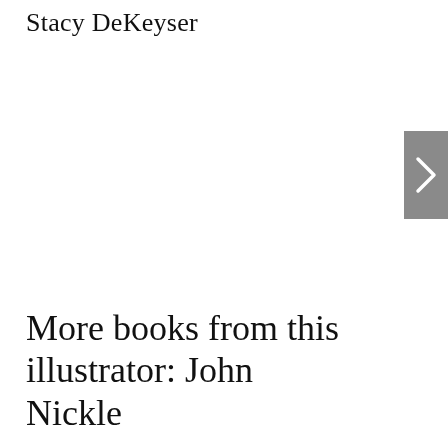Stacy DeKeyser
[Figure (other): Gray navigation button with a right-pointing chevron arrow ('>') on the right edge of the page]
More books from this illustrator: John Nickle